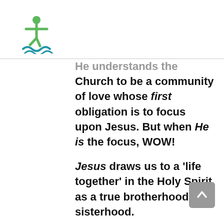[Figure (logo): A logo showing a stylized person/figure with a cross and waves beneath, in green and blue colors.]
He understands the Church to be a community of love whose first obligation is to focus upon Jesus. But when He is the focus, WOW!

Jesus draws us to a ‘life together’ in the Holy Spirit as a true brotherhood and sisterhood.